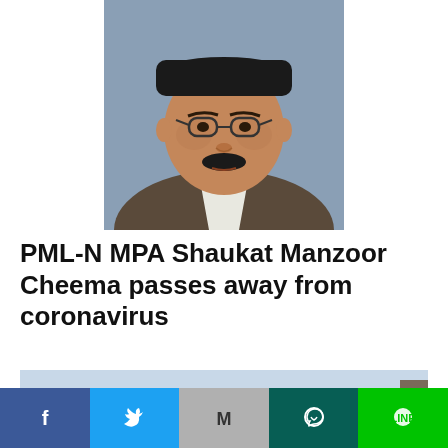[Figure (photo): Portrait photo of a man wearing glasses, a dark cap, a white shirt and brown jacket, with a blurred background.]
PML-N MPA Shaukat Manzoor Cheema passes away from coronavirus
[Figure (photo): A train locomotive on a street with people visible in the foreground and a play button overlay in the bottom right.]
[Figure (infographic): Social media share bar with Facebook, Twitter, Gmail, WhatsApp, and LINE icons.]